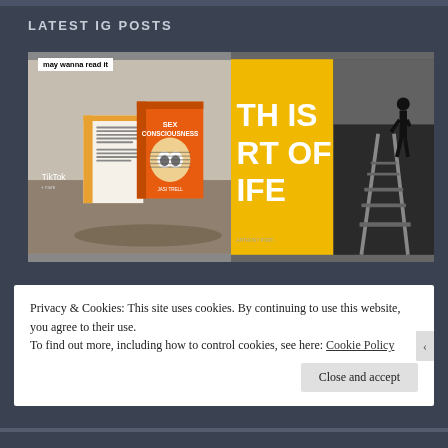LATEST IG POSTS
[Figure (photo): Two Instagram post images side by side: left shows a book 'Sex Consciousness' mockup with label 'may wanna read it'; right shows split image with yellow typography 'TH IS RT OF IFE' and a silhouette walking on railroad tracks]
Privacy & Cookies: This site uses cookies. By continuing to use this website, you agree to their use.
To find out more, including how to control cookies, see here: Cookie Policy
Close and accept